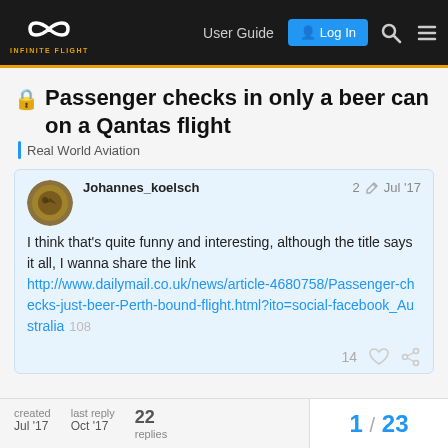Infinite Flight Community — User Guide | Log In
🔒 Passenger checks in only a beer can on a Qantas flight
Real World Aviation
Johannes_koelsch  2  Jul '17
I think that's quite funny and interesting, although the title says it all, I wanna share the link http://www.dailymail.co.uk/news/article-4680758/Passenger-checks-just-beer-Perth-bound-flight.html?ito=social-facebook_Australia  108
14  ♡  🔗
created  last reply  22  1 / 23